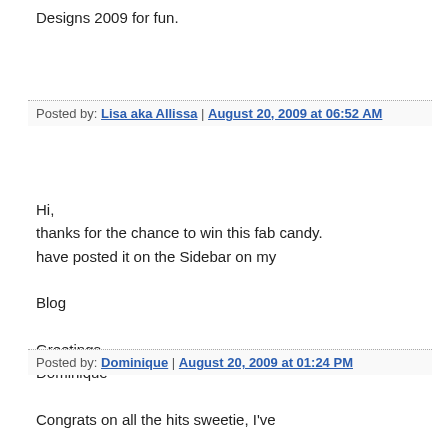Designs 2009 for fun.
Posted by: Lisa aka Allissa | August 20, 2009 at 06:52 AM
Hi,
thanks for the chance to win this fab candy.
have posted it on the Sidebar on my

Blog

Greetings
Dominique
Posted by: Dominique | August 20, 2009 at 01:24 PM
Congrats on all the hits sweetie, I've